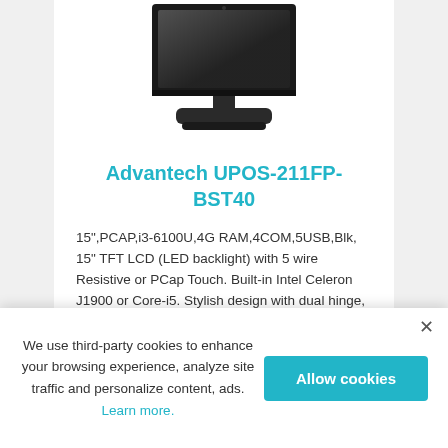[Figure (photo): Advantech UPOS-211FP-BST40 POS terminal device, showing the monitor on a stand, viewed from a slight angle. The device is black with a flat screen on a rectangular base.]
Advantech UPOS-211FP-BST40
15",PCAP,i3-6100U,4G RAM,4COM,5USB,Blk, 15" TFT LCD (LED backlight) with 5 wire Resistive or PCap Touch. Built-in Intel Celeron J1900 or Core-i5. Stylish design with dual hinge, thinner boarder, slim screen. Clear Cable Management. Low power & fanless operation without heat ventilation holes. Easy access to key...
We use third-party cookies to enhance your browsing experience, analyze site traffic and personalize content, ads. Learn more.
Allow cookies